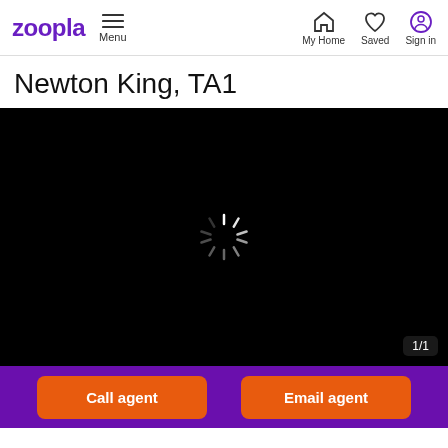Zoopla — Menu | My Home | Saved | Sign in
Newton King, TA1
[Figure (photo): Black loading screen with a spinning loader animation in the center and a '1/1' counter badge in the bottom right corner]
Call agent | Email agent